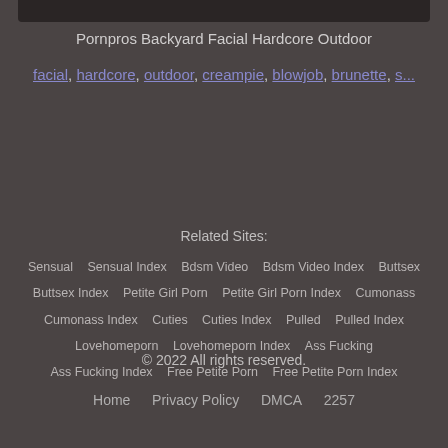[Figure (screenshot): Top portion of a video thumbnail image, cropped at the top of the page]
Pornpros Backyard Facial Hardcore Outdoor
facial, hardcore, outdoor, creampie, blowjob, brunette, s...
Related Sites:
Sensual   Sensual Index   Bdsm Video   Bdsm Video Index   Buttsex   Buttsex Index   Petite Girl Porn   Petite Girl Porn Index   Cumonass   Cumonass Index   Cuties   Cuties Index   Pulled   Pulled Index   Lovehomeporn   Lovehomeporn Index   Ass Fucking   Ass Fucking Index   Free Petite Porn   Free Petite Porn Index
© 2022 All rights reserved.
Home   Privacy Policy   DMCA   2257